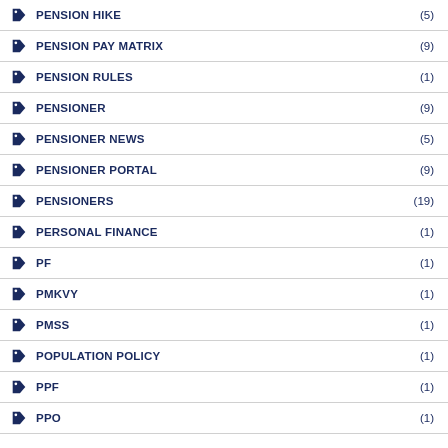PENSION HIKE (5)
PENSION PAY MATRIX (9)
PENSION RULES (1)
PENSIONER (9)
PENSIONER NEWS (5)
PENSIONER PORTAL (9)
PENSIONERS (19)
PERSONAL FINANCE (1)
PF (1)
PMKVY (1)
PMSS (1)
POPULATION POLICY (1)
PPF (1)
PPO (1)